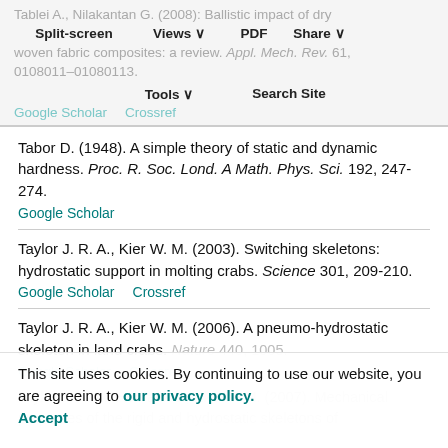Tablei A., Nilakantan G. (2008): Ballistic impact of dry woven fabric composites: a review. Appl. Mech. Rev. 61, 0108011-01080113.
Google Scholar   Crossref
Tabor D. (1948). A simple theory of static and dynamic hardness. Proc. R. Soc. Lond. A Math. Phys. Sci. 192, 247-274.
Google Scholar
Taylor J. R. A., Kier W. M. (2003). Switching skeletons: hydrostatic support in molting crabs. Science 301, 209-210.
Google Scholar   Crossref
Taylor J. R. A., Kier W. M. (2006). A pneumo-hydrostatic skeleton in land crabs. Nature 440, 1005.
Google Scholar   Crossref
Taylor J. R. A., Hebrank J., Kier W. M. (2007). Mechanical properties of the rigid and hydrostatic skeletons of
This site uses cookies. By continuing to use our website, you are agreeing to our privacy policy. Accept